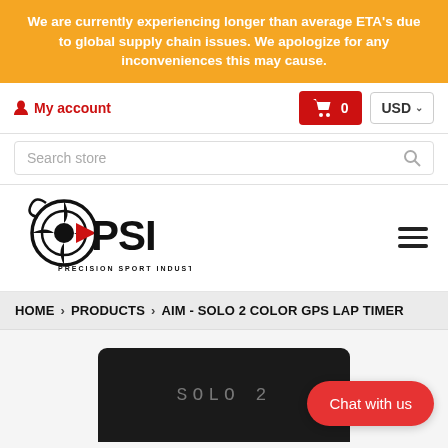We are currently experiencing longer than average ETA's due to global supply chain issues. We apologize for any inconveniences this may cause.
My account
0
USD
Search store
[Figure (logo): PSI Precision Sport Industries logo — black stylized turbo wheel with red arrow, bold PSI text]
HOME > PRODUCTS > AIM - SOLO 2 COLOR GPS LAP TIMER
[Figure (photo): AIM Solo 2 GPS lap timer device shown from above, black unit with 'SOLO 2' text on face]
Chat with us